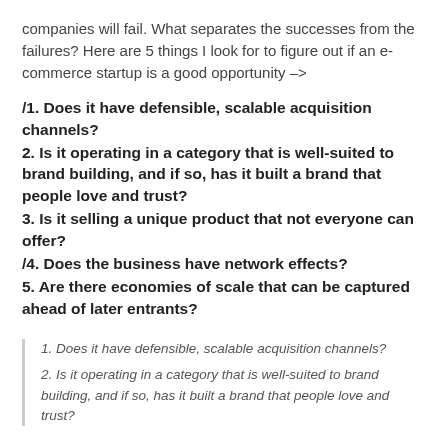companies will fail. What separates the successes from the failures? Here are 5 things I look for to figure out if an e-commerce startup is a good opportunity –>
/1. Does it have defensible, scalable acquisition channels?
2. Is it operating in a category that is well-suited to brand building, and if so, has it built a brand that people love and trust?
3. Is it selling a unique product that not everyone can offer?
/4. Does the business have network effects?
5. Are there economies of scale that can be captured ahead of later entrants?
1. Does it have defensible, scalable acquisition channels?
2. Is it operating in a category that is well-suited to brand building, and if so, has it built a brand that people love and trust?